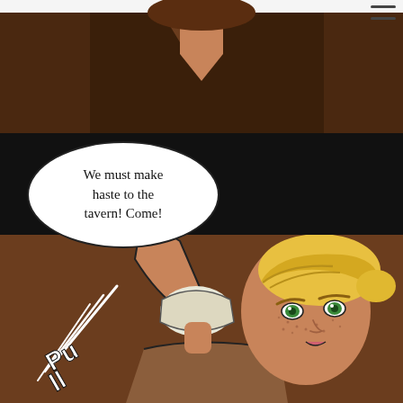[Figure (illustration): Comic page with three panels. Top panel: brown background with a figure in a dark robe/cloak, neckline visible. Middle panel: black background with a white oval speech bubble containing the text 'We must make haste to the tavern! Come!'. Bottom panel: brown background showing a blonde woman with green eyes, freckles, braided updo, white sleeve garment, arm raised upward with motion lines. Sound effect 'Pull' visible in lower left.]